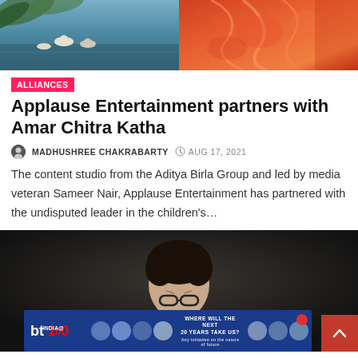[Figure (photo): Two artworks side by side at the top: left shows a blue-green painting with birds/pelicans on water, right shows an orange-red painting with abstract warm-colored elements]
ALLIANCES
Applause Entertainment partners with Amar Chitra Katha
MADHUSHREE CHAKRABARTY  AUG 17, 2021
The content studio from the Aditya Birla Group and led by media veteran Sameer Nair, Applause Entertainment has partnered with the undisputed leader in the children's…
[Figure (photo): Dark background portrait photo of a person wearing glasses, partially visible. An advertisement banner for BT India@100 is overlaid at the bottom showing several faces/figures with text 'WHERE WILL THE NEXT 20 YEARS TAKE US?']